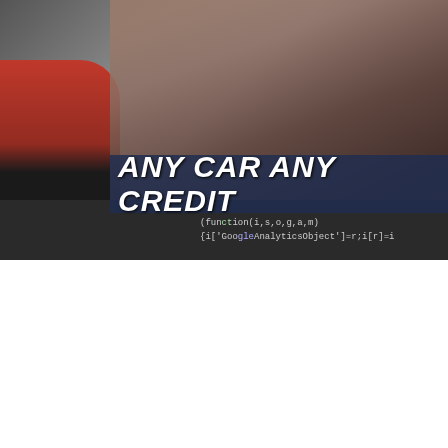[Figure (photo): Banner image showing people near a car with dark overlay and 'ANY CAR ANY CREDIT' text in white italic bold font on a dark navy semi-transparent bar. Code snippets visible: (function(i,s,o,g,a,m) and {i['GoogleAnalyticsObject']=r;i[r]=i]
Canada Finance
Bad Credit
No Credit
Bankruptcy
Poor Credit
Disability
At Canada Fina...
This philosophy h... need we found wa... the Banks said “N...
We built on this t...